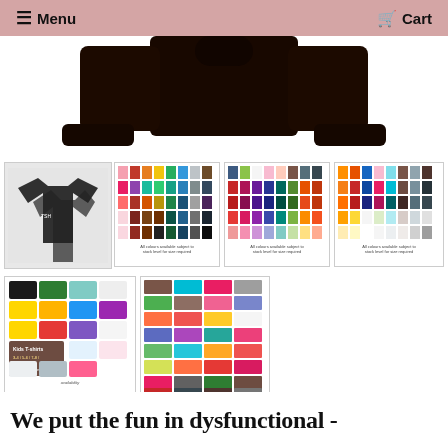Menu   Cart
[Figure (photo): Close-up of a dark brown/black hoodie showing the torso and cuffs against a white background]
[Figure (photo): T-shirt and hoodie in black with logo print, shown as product thumbnails]
[Figure (photo): Colour swatches grid for available hoodie colours with caption: All colours available subject to stock level for size required]
[Figure (photo): Colour swatches grid for available hoodie colours with caption: All colours available subject to stock level for size required]
[Figure (photo): Colour swatches grid for available hoodie colours with caption: All colours available subject to stock level for size required]
[Figure (photo): Kids T-shirts colour chart showing sizes 3-4/5-6/7-8/9-11/12-14, colours and sizes subject to availability]
[Figure (photo): Adult T-shirts colour chart showing large variety of colours]
We put the fun in dysfunctional -